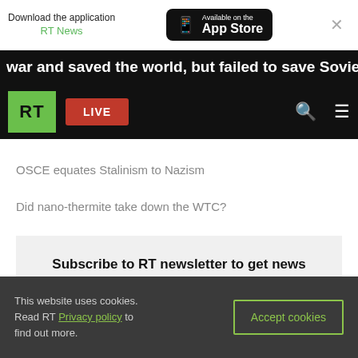Download the application RT News — Available on the App Store
war and saved the world, but failed to save Soviet
[Figure (screenshot): RT website navigation bar with RT logo, LIVE button, search and menu icons on black background]
OSCE equates Stalinism to Nazism
Did nano-thermite take down the WTC?
Subscribe to RT newsletter to get news highlights of the day right in your mailbox
This website uses cookies. Read RT Privacy policy to find out more.